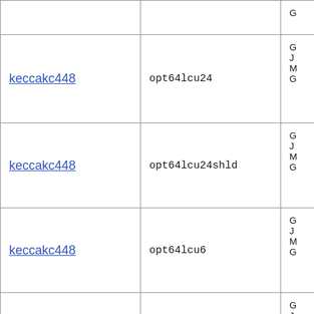|  |  |  |
| --- | --- | --- |
|  |  | G |
| keccakc448 | opt64lcu24 | G
J
M
G |
| keccakc448 | opt64lcu24shld | G
J
M
G |
| keccakc448 | opt64lcu6 | G
J
M
G |
| keccakc448 | opt64u6 | G
J
M
G |
| keccakc448 | simple | R |
| keccakc448 | simple32bi | G
J
M |